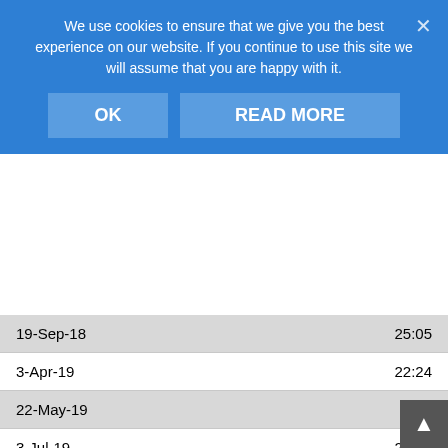We use cookies to ensure that we give you the best experience on our website. If you continue to use this site we will assume that you are happy with it.
| Date | Time |
| --- | --- |
| 19-Sep-18 | 25:05 |
| 3-Apr-19 | 22:24 |
| 22-May-19 | – |
| 3-Jul-19 | 24:17 |
| First Name | Victoria |
| Surname | Shrehorn |
| 18-Jul-18 | 29:15 |
| 19-Sep-18 | 26:55 |
| 3-Apr-18 | 36:11 |